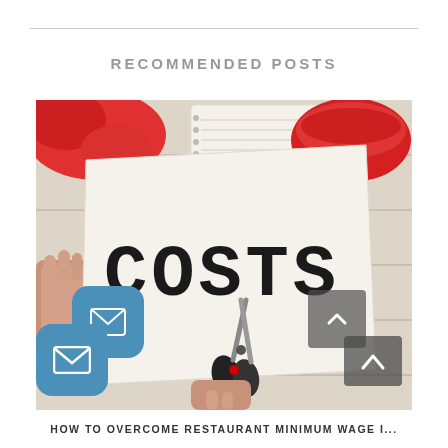RECOMMENDED POSTS
[Figure (photo): A hand holding a piece of paper with the word 'COSTS' written in large hand-drawn letters, being cut by a pair of scissors. Background includes a red bowl, a notebook, and red crumpled paper on a white wooden surface.]
HOW TO OVERCOME RESTAURANT MINIMUM WAGE I...